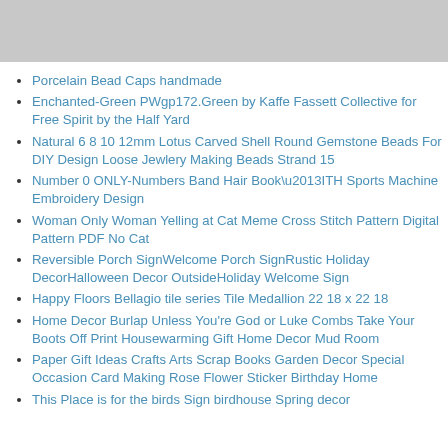[Figure (photo): Partial image of decorative items visible at the top of the page, gray background]
Porcelain Bead Caps handmade
Enchanted-Green PWgp172.Green by Kaffe Fassett Collective for Free Spirit by the Half Yard
Natural 6 8 10 12mm Lotus Carved Shell Round Gemstone Beads For DIY Design Loose Jewlery Making Beads Strand 15
Number 0 ONLY-Numbers Band Hair Book\u2013ITH Sports Machine Embroidery Design
Woman Only Woman Yelling at Cat Meme Cross Stitch Pattern Digital Pattern PDF No Cat
Reversible Porch SignWelcome Porch SignRustic Holiday DecorHalloween Decor OutsideHoliday Welcome Sign
Happy Floors Bellagio tile series Tile Medallion 22 18 x 22 18
Home Decor Burlap Unless You're God or Luke Combs Take Your Boots Off Print Housewarming Gift Home Decor Mud Room
Paper Gift Ideas Crafts Arts Scrap Books Garden Decor Special Occasion Card Making Rose Flower Sticker Birthday Home
This Place is for the birds Sign birdhouse Spring decor